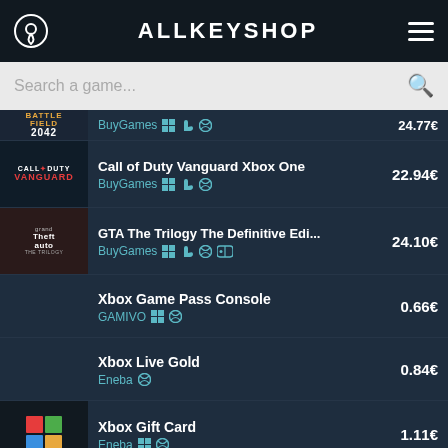ALLKEYSHOP
Search a game...
BuyGames — 24.77€ (partial, cut off)
Call of Duty Vanguard Xbox One — BuyGames — 22.94€
GTA The Trilogy The Definitive Edi... — BuyGames — 24.10€
Xbox Game Pass Console — GAMIVO — 0.66€
Xbox Live Gold — Eneba — 0.84€
Xbox Gift Card — Eneba — 1.11€
Call of Duty Vanguard Xbox Series — BuyGames — 22.94€
FIFA 22 Xbox One — Kinguin — Help button overlay
Battlefield 2042 Xbox Series (partial, cut off)